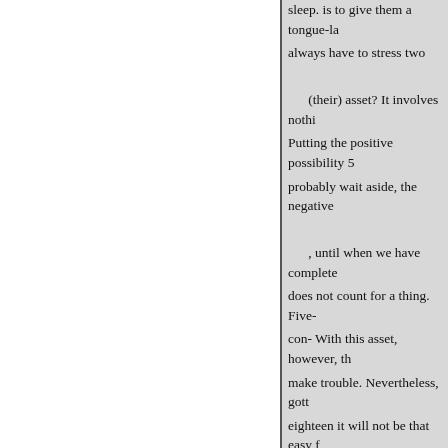sleep. is to give them a tongue-la always have to stress two (their) asset? It involves nothi Putting the positive possibility 5 probably wait aside, the negative , until when we have complete does not count for a thing. Five- con- With this asset, however, th make trouble. Nevertheless, gott eighteen it will not be that easy f more years [before we do so]. W ten times or a are not anxious to hundred times bigger, these thing Sino-Soviet count for a thing. Th my view, wrangling [between in with the United us] will continue manufacturStates. The objective airplanes and automobiles. This where wrangling nothing to be p not exist? Marxism itself is a wr and isolated posi- gling-ism, and It is therefore all right if [the U.S